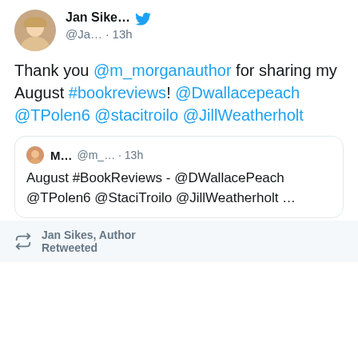[Figure (screenshot): Twitter screenshot showing a tweet by Jan Sike... (@Ja...) posted 13h ago, with a quoted tweet from M... (@m_...) also 13h ago. The tweet thanks @m_morganauthor for sharing August #bookreviews and mentions @Dwallacepeach @TPolen6 @stacitroilo @JillWeatherholt. The quoted tweet shows 'August #BookReviews - @DWallacePeach @TPolen6 @StaciTroilo @JillWeatherholt ...' with 3 likes. Below is a retweet footer: 'Jan Sikes, Author Retweeted'.]